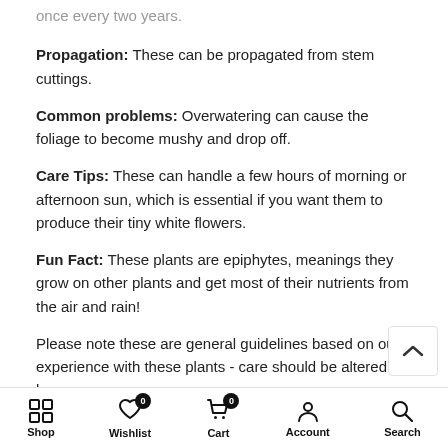once every two years.
Propagation: These can be propagated from stem cuttings.
Common problems: Overwatering can cause the foliage to become mushy and drop off.
Care Tips: These can handle a few hours of morning or afternoon sun, which is essential if you want them to produce their tiny white flowers.
Fun Fact: These plants are epiphytes, meanings they grow on other plants and get most of their nutrients from the air and rain!
Please note these are general guidelines based on our experience with these plants - care should be altered base
Shop  Wishlist  Cart  Account  Search